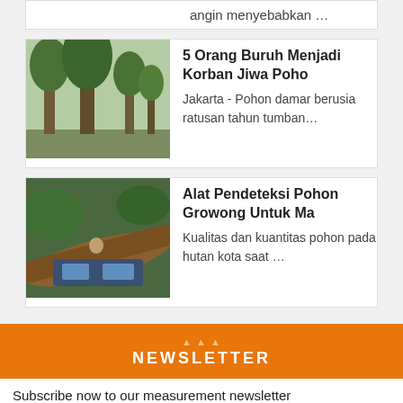angin menyebabkan …
[Figure (photo): Tall trees in a forested area]
5 Orang Buruh Menjadi Korban Jiwa Poho
Jakarta - Pohon damar berusia ratusan tahun tumban…
[Figure (photo): A fallen tree on a vehicle or tent]
Alat Pendeteksi Pohon Growong Untuk Ma
Kualitas dan kuantitas pohon pada hutan kota saat …
NEWSLETTER
Subscribe now to our measurement newsletter
email